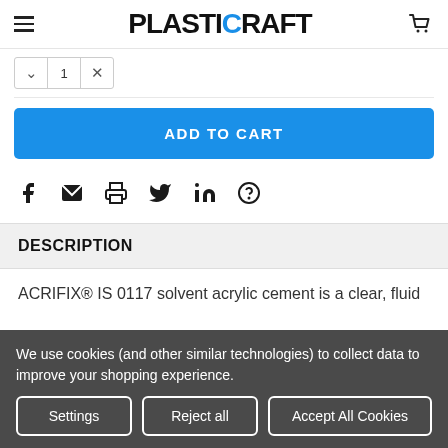[Figure (logo): PlastiCraft logo with hamburger menu and cart icon in header]
[Figure (screenshot): Quantity selector with decrement, value, and increment buttons]
ADD TO CART
[Figure (infographic): Social sharing icons: Facebook, Email, Print, Twitter, LinkedIn, Pinterest]
DESCRIPTION
ACRIFIX® IS 0117 solvent acrylic cement is a clear, fluid
We use cookies (and other similar technologies) to collect data to improve your shopping experience.
Settings
Reject all
Accept All Cookies